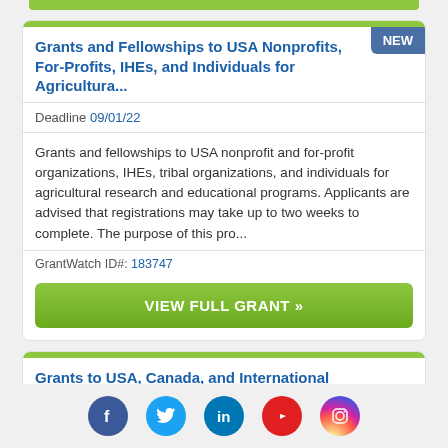Grants and Fellowships to USA Nonprofits, For-Profits, IHEs, and Individuals for Agricultura...
Deadline 09/01/22
Grants and fellowships to USA nonprofit and for-profit organizations, IHEs, tribal organizations, and individuals for agricultural research and educational programs. Applicants are advised that registrations may take up to two weeks to complete. The purpose of this pro...
GrantWatch ID#: 183747
VIEW FULL GRANT »
Grants to USA, Canada, and International Nonprofits, IHEs, Businesses, and Agencies for
[Figure (infographic): Social media icons row: Facebook, Twitter, LinkedIn, YouTube, Instagram]